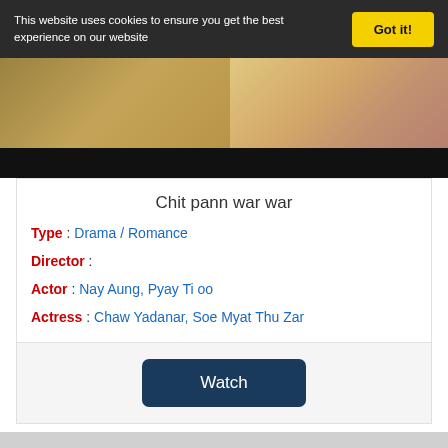This website uses cookies to ensure you get the best experience on our website
[Figure (photo): Movie banner image for Chit pann war war with Myanmar script title, showing people and decorative background]
Chit pann war war
Type : Drama / Romance
Director :
Actor : Nay Aung, Pyay Ti oo
Actress : Chaw Yadanar, Soe Myat Thu Zar
Watch